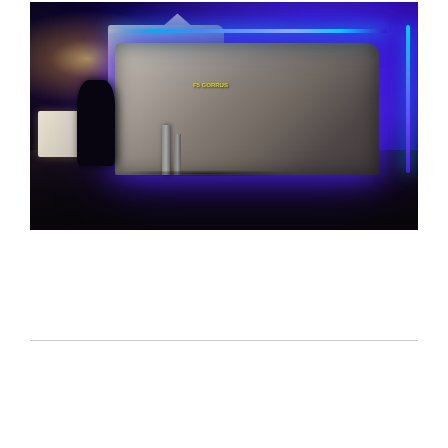[Figure (photo): Nighttime photograph of a large semi-truck with bright blue neon/LED lights along the top and side. A person is standing near the front-left of the truck. A white car is visible on the left. Metal bollards are in the foreground. The scene is dramatically lit with blue light against a dark night sky.]
← Page 4